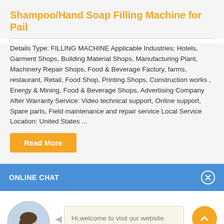Shampoo/Hand Soap Filling Machine for Pail
Details Type: FILLING MACHINE Applicable Industries: Hotels, Garment Shops, Building Material Shops, Manufacturing Plant, Machinery Repair Shops, Food & Beverage Factory, farms, restaurant, Retail, Food Shop, Printing Shops, Construction works , Energy & Mining, Food & Beverage Shops, Advertising Company After Warranty Service: Video technical support, Online support, Spare parts, Field maintenance and repair service Local Service Location: United States ...
Read More
ONLINE CHAT
[Figure (photo): Avatar photo of a woman customer service representative named Cilina]
Cilina
Hi,welcome to visit our website.